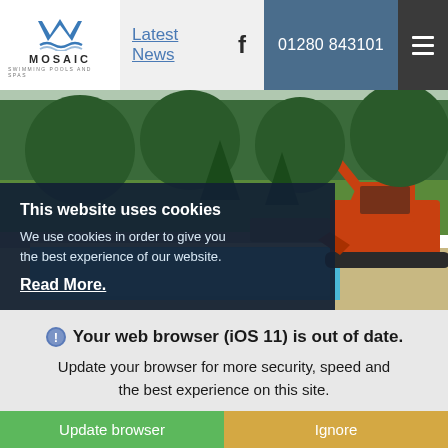Mosaic Swimming Pools and Spas — Latest News | 01280 843101
[Figure (photo): Excavator/digger machine beside a rectangular swimming pool with blue water, stone wall, green lawn and trees in background. Construction/renovation scene.]
This website uses cookies
We use cookies in order to give you the best experience of our website.
Read More.
Your web browser (iOS 11) is out of date. Update your browser for more security, speed and the best experience on this site.
Update browser   Ignore